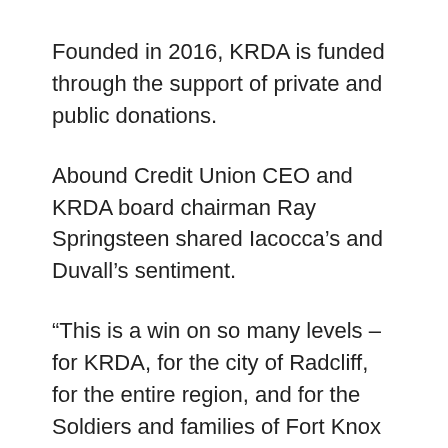Founded in 2016, KRDA is funded through the support of private and public donations.
Abound Credit Union CEO and KRDA board chairman Ray Springsteen shared Iacocca’s and Duvall’s sentiment.
“This is a win on so many levels – for KRDA, for the city of Radcliff, for the entire region, and for the Soldiers and families of Fort Knox that KRDA helps us all support,” said Springsteen. “KRDA works to protect our region’s greatest economic asset, Fort Knox, which generates nearly a billion in annual payroll. We appreciate the city’s foresight in